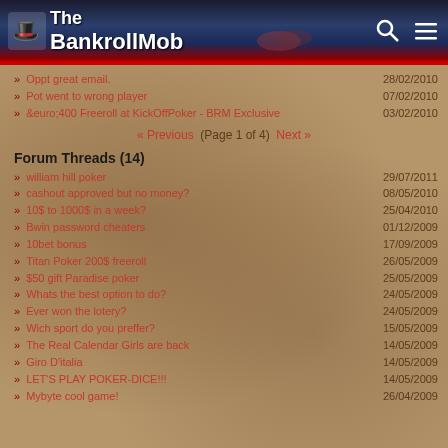[Figure (screenshot): BankrollMob website header banner with logo, poker cards, chips graphics, search icon and menu icon]
Oppt great email. | 28/02/2010
Pot went to wrong player | 07/02/2010
&euro;400 Freeroll at KickOffPoker - BRM Exclusive | 03/02/2010
« Previous  (Page 1 of 4)  Next »
Forum Threads (14)
william hill poker | 29/07/2011
cashout approved but no money? | 08/05/2010
10$ to 1000$ in a week? | 25/04/2010
Bwin password cheaters | 01/12/2009
10bet bonus | 17/09/2009
Titan Poker 200$ freeroll | 26/05/2009
$50 gift Paradise poker | 25/05/2009
Whats the best option to do? | 24/05/2009
Ever won the lotery? | 24/05/2009
Wich sport do you preffer? | 15/05/2009
The Real Calendar Girls are back | 14/05/2009
Giro D'italia | 14/05/2009
LET'S PLAY POKER-DICE!!! | 14/05/2009
Mybyte cool game! | 26/04/2009